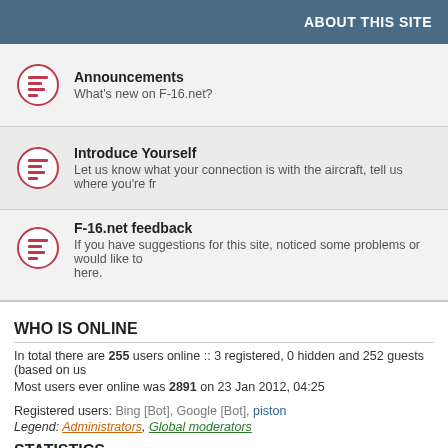ABOUT THIS SITE
Announcements
What's new on F-16.net?
Introduce Yourself
Let us know what your connection is with the aircraft, tell us where you're fr
F-16.net feedback
If you have suggestions for this site, noticed some problems or would like to... here.
WHO IS ONLINE
In total there are 255 users online :: 3 registered, 0 hidden and 252 guests (based on us
Most users ever online was 2891 on 23 Jan 2012, 04:25
Registered users: Bing [Bot], Google [Bot], piston
Legend: Administrators, Global moderators
STATISTICS